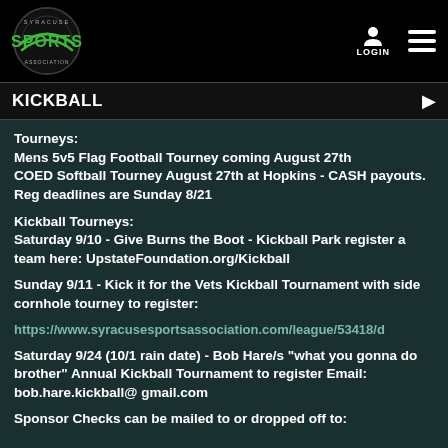[Figure (logo): Syracuse Sports Association logo with green text 'SPORTS' and circular emblem on black background]
LOGIN [hamburger menu]
KICKBALL
Tourneys:
Mens 5v5 Flag Football Tourney coming August 27th
COED Softball Tourney August 27th at Hopkins - CASH payouts. Reg deadlines are Sunday 8/21
Kickball Tourneys:
Saturday 9/10 - Give Burns the Boot - Kickball Park register a team here: UpstateFoundation.org/Kickball
Sunday 9/11 - Kick it for the Vets Kickball Tournament with side cornhole tourney to register:
https://www.syracusesportsassociation.com/league/53418/d
Saturday 9/24 (10/1 rain date) - Bob Hare/s "what you gonna do brother" Annual Kickball Tournament to register Email: bob.hare.kickball@ gmail.com
Sponsor Checks can be mailed to or dropped off to: